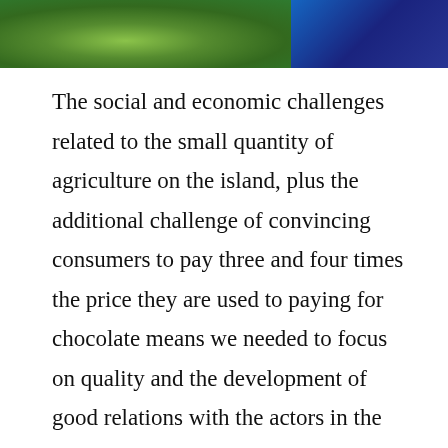[Figure (photo): Partial photograph at top of page showing green grass/vegetation on the left and dark blue fabric or material on the right]
The social and economic challenges related to the small quantity of agriculture on the island, plus the additional challenge of convincing consumers to pay three and four times the price they are used to paying for chocolate means we needed to focus on quality and the development of good relations with the actors in the value chain. The challenges related to the events of hurricanes, earthquakes and the pandemic, since they were totally unplanned, have been and are handled as they come, based on years of accumulated knowledge...